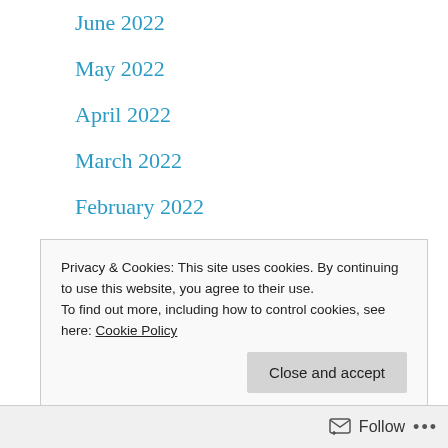June 2022
May 2022
April 2022
March 2022
February 2022
January 2022
December 2021
November 2021
October 2021
September 2021
Privacy & Cookies: This site uses cookies. By continuing to use this website, you agree to their use.
To find out more, including how to control cookies, see here: Cookie Policy
Follow ...